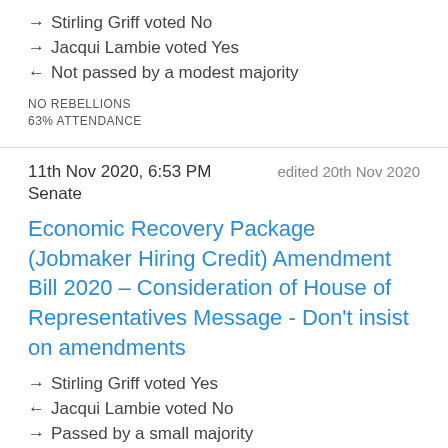→ Stirling Griff voted No
→ Jacqui Lambie voted Yes
← Not passed by a modest majority
NO REBELLIONS
63% ATTENDANCE
11th Nov 2020, 6:53 PM   edited 20th Nov 2020
Senate
Economic Recovery Package (Jobmaker Hiring Credit) Amendment Bill 2020 - Consideration of House of Representatives Message - Don't insist on amendments
→ Stirling Griff voted Yes
← Jacqui Lambie voted No
→ Passed by a small majority